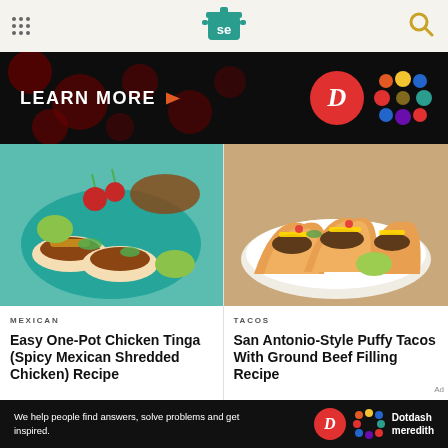[Figure (logo): Serious Eats logo with pot icon and 'se' text in teal, hamburger menu dots on left, search icon on right]
[Figure (photo): Advertisement banner with dark background, 'LEARN MORE' text with orange arrow, D red circle logo and colorful Dotdash Meredith logo]
[Figure (photo): Overhead photo of Mexican tacos on a teal blue plate with lime, radishes, and cilantro]
MEXICAN
Easy One-Pot Chicken Tinga (Spicy Mexican Shredded Chicken) Recipe
[Figure (photo): Photo of San Antonio-style puffy tacos with ground beef, shredded cheese and tomatoes on a white plate with lime]
TACOS
San Antonio-Style Puffy Tacos With Ground Beef Filling Recipe
[Figure (photo): Bottom banner advertisement: 'We help people find answers, solve problems and get inspired.' with Dotdash Meredith logos]